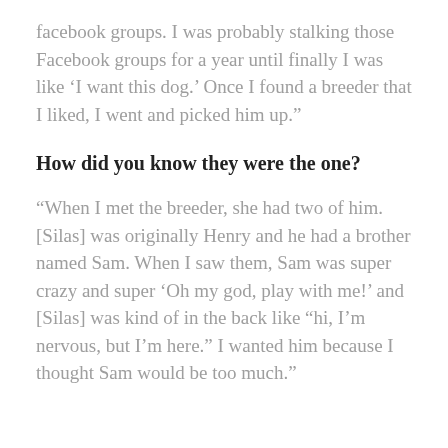facebook groups. I was probably stalking those Facebook groups for a year until finally I was like ‘I want this dog.’ Once I found a breeder that I liked, I went and picked him up.”
How did you know they were the one?
“When I met the breeder, she had two of him. [Silas] was originally Henry and he had a brother named Sam. When I saw them, Sam was super crazy and super ‘Oh my god, play with me!’ and [Silas] was kind of in the back like “hi, I’m nervous, but I’m here.” I wanted him because I thought Sam would be too much.”